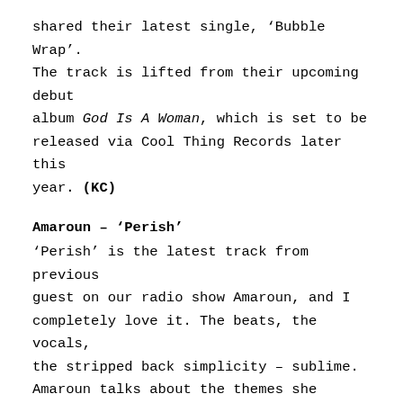shared their latest single, 'Bubble Wrap'. The track is lifted from their upcoming debut album God Is A Woman, which is set to be released via Cool Thing Records later this year. (KC)
Amaroun – 'Perish'
'Perish' is the latest track from previous guest on our radio show Amaroun, and I completely love it. The beats, the vocals, the stripped back simplicity – sublime. Amaroun talks about the themes she evokes in her music which consistently touch on her journey of being a black queer woman,